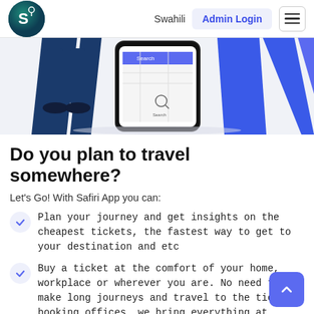Swahili  Admin Login  ≡
[Figure (illustration): Illustration of a person's legs standing next to a large smartphone, with a map/search interface visible on the screen. Blue geometric background shapes.]
Do you plan to travel somewhere?
Let's Go! With Safiri App you can:
Plan your journey and get insights on the cheapest tickets, the fastest way to get to your destination and etc
Buy a ticket at the comfort of your home, workplace or wherever you are. No need to make long journeys and travel to the ticket booking offices, we bring everything at